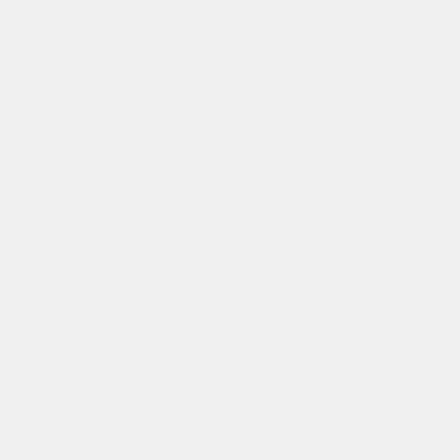Bu web sitesi ücretsiz olarak Bedava-Sitem.com ile oluşturulmuştur. Siz de kendi web sitenizi kurmak ister misiniz?
ÜCRETSİZ KAYDOL
tarih
<a href="http://tarihe-gecenler.tr.gg" _fcksavedurl="http://tarihe-gecenler.tr.gg"><img alt="" border="0" src="http://img67.imageshack.us/img67/9175/tariheps5.png"